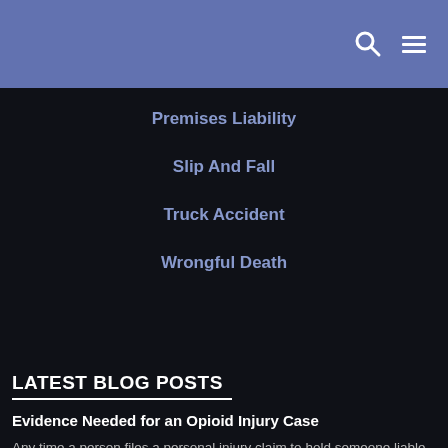Premises Liability
Slip And Fall
Truck Accident
Wrongful Death
LATEST BLOG POSTS
Evidence Needed for an Opioid Injury Case
Any time a person files a personal injury claim to hold someone liable for negligence, they must have evidence to substantiate their claim. In opioid cases, which are considered medical malpractice claims, this evidence is crucial yet, quite difficult to obtain. If you or a loved one has suffered losses as a result of opioid [...]